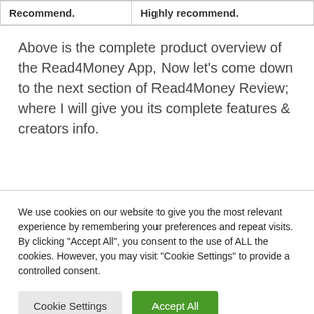| Recommend. | Highly recommend. |
Above is the complete product overview of the Read4Money App, Now let's come down to the next section of Read4Money Review; where I will give you its complete features & creators info.
We use cookies on our website to give you the most relevant experience by remembering your preferences and repeat visits. By clicking "Accept All", you consent to the use of ALL the cookies. However, you may visit "Cookie Settings" to provide a controlled consent.